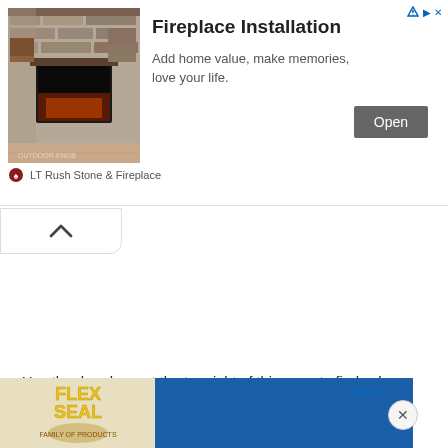[Figure (screenshot): Advertisement banner for LT Rush Stone & Fireplace showing fireplace installation with stone wall, text 'Fireplace Installation', 'Add home value, make memories, love your life.' and an Open button]
[Figure (screenshot): Collapse/hide button with upward caret chevron]
Use the dropdown at the top right of this page to find sales figures
for any o s.
Car sales a.
[Figure (screenshot): Bottom advertisement banner for Flex Seal showing logo and blue background with ad indicator and X close button]